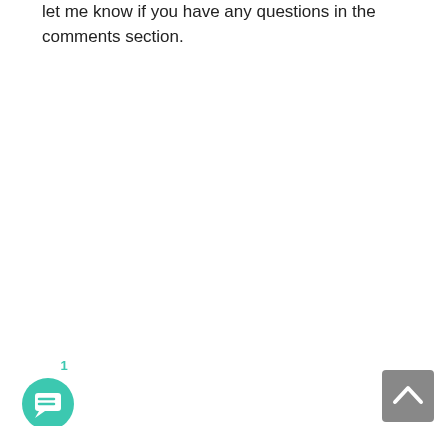let me know if you have any questions in the comments section.
[Figure (other): Teal circular chat/comment button with speech bubble icon and a notification badge showing '1']
[Figure (other): Gray square scroll-to-top button with upward chevron arrow]